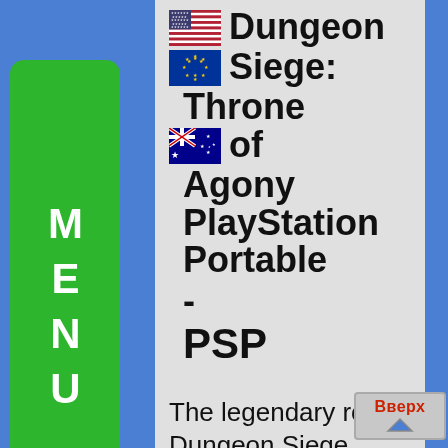🇺🇸🇪🇺🇦🇺 Dungeon Siege: Throne of Agony PlayStation Portable - PSP
The legendary role Dungeon Siege series by right is